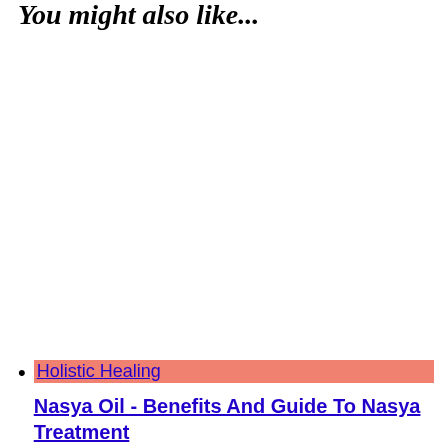You might also like...
Holistic Healing
Nasya Oil - Benefits And Guide To Nasya Treatment